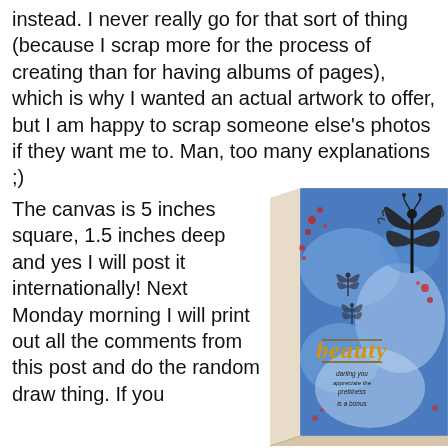instead. I never really go for that sort of thing (because I scrap more for the process of creating than for having albums of pages), which is why I wanted an actual artwork to offer, but I am happy to scrap someone else's photos if they want me to. Man, too many explanations ;)
The canvas is 5 inches square, 1.5 inches deep and yes I will post it internationally! Next Monday morning I will print out all the comments from this post and do the random draw thing. If you
[Figure (photo): A small painted canvas artwork showing a blue and white abstract background with red splatter accents, a black decorative dragonfly embellishment at the top right, smaller dragonfly stamps on the blue field, and the word 'beauty' written in golden/orange Gothic lettering in the lower center, with additional small text below it. The canvas is shown at an angle revealing its depth.]